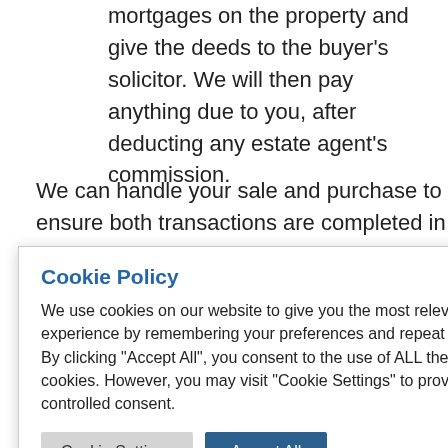mortgages on the property and give the deeds to the buyer's solicitor. We will then pay anything due to you, after deducting any estate agent's commission.
We can handle your sale and purchase to ensure both transactions are completed in quick succession. For help and advice on any conveyancing problem or to arrange an appointment, please call our solicitors on 0203 [number] or email us at [email].co.uk
[Figure (screenshot): Cookie Policy popup overlay with title 'Cookie Policy' in blue, body text explaining cookie usage, and two buttons: 'Cookie Settings' (grey) and 'Accept All' (dark blue).]
company to speed up your transaction, stress-free. We can